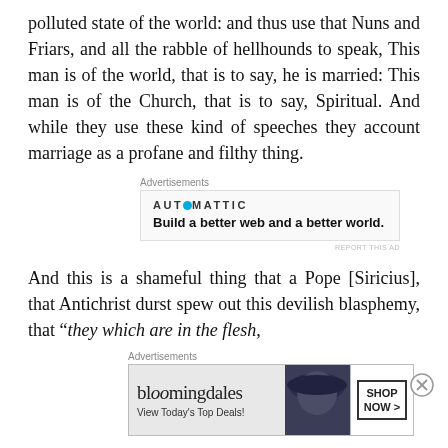polluted state of the world: and thus use that Nuns and Friars, and all the rabble of hellhounds to speak, This man is of the world, that is to say, he is married: This man is of the Church, that is to say, Spiritual. And while they use these kind of speeches they account marriage as a profane and filthy thing.
[Figure (infographic): Automattic advertisement: 'Build a better web and a better world.']
And this is a shameful thing that a Pope [Siricius], that Antichrist durst spew out this devilish blasphemy, that "they which are in the flesh,
[Figure (infographic): Bloomingdale's advertisement: 'View Today's Top Deals!' with SHOP NOW > button]